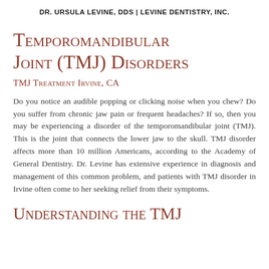DR. URSULA LEVINE, DDS | LEVINE DENTISTRY, INC.
Temporomandibular Joint (TMJ) Disorders
TMJ Treatment Irvine, CA
Do you notice an audible popping or clicking noise when you chew? Do you suffer from chronic jaw pain or frequent headaches? If so, then you may be experiencing a disorder of the temporomandibular joint (TMJ). This is the joint that connects the lower jaw to the skull. TMJ disorder affects more than 10 million Americans, according to the Academy of General Dentistry. Dr. Levine has extensive experience in diagnosis and management of this common problem, and patients with TMJ disorder in Irvine often come to her seeking relief from their symptoms.
Understanding the TMJ